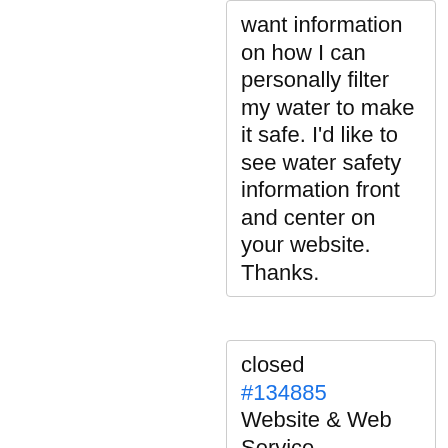want information on how I can personally filter my water to make it safe. I'd like to see water safety information front and center on your website. Thanks.
closed #134885 Website & Web Service...